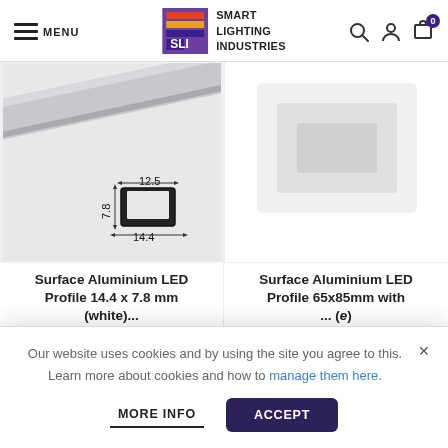Smart Lighting Industries — MENU header with logo and icons
[Figure (photo): Aluminum LED channel strip profile 14.4x7.8mm shown at an angle with cross-section diagram showing dimensions 12.5mm width, 14.4mm base, 7.8mm height]
Surface Aluminium LED Profile 14.4 x 7.8 mm (white)
Surface Aluminium LED Profile 65x85mm with ... (white e)
Our website uses cookies and by using the site you agree to this. Learn more about cookies and how to manage them here.